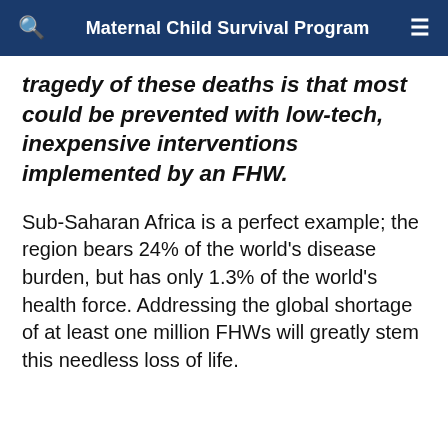Maternal Child Survival Program
tragedy of these deaths is that most could be prevented with low-tech, inexpensive interventions implemented by an FHW.
Sub-Saharan Africa is a perfect example; the region bears 24% of the world's disease burden, but has only 1.3% of the world's health force. Addressing the global shortage of at least one million FHWs will greatly stem this needless loss of life.